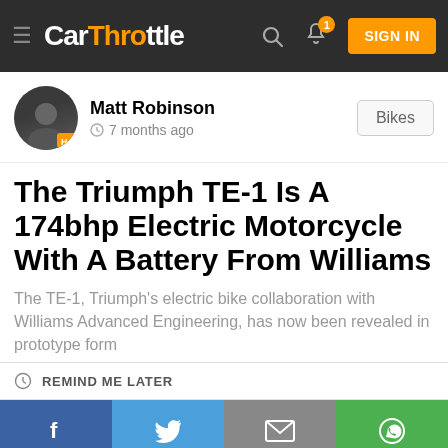CarThrottle — SIGN IN
Matt Robinson · 7 months ago · Bikes
The Triumph TE-1 Is A 174bhp Electric Motorcycle With A Battery From Williams
The TE-1, Triumph's electric bike collaboration with Williams Advanced Engineering, has now been revealed in prototype form
REMIND ME LATER
[Figure (infographic): Social share bar with Facebook, Twitter, email, and WhatsApp buttons]
[Figure (photo): Dark interior/workshop photo at the bottom of the page]